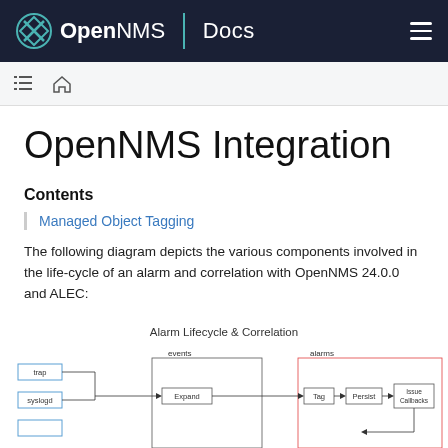OpenNMS | Docs
OpenNMS Integration
Contents
Managed Object Tagging
The following diagram depicts the various components involved in the life-cycle of an alarm and correlation with OpenNMS 24.0.0 and ALEC:
[Figure (flowchart): Alarm Lifecycle & Correlation diagram showing trap/syslogd inputs flowing through events to Expand, then to alarms section with Tag, Persist, and Issue Callbacks boxes.]